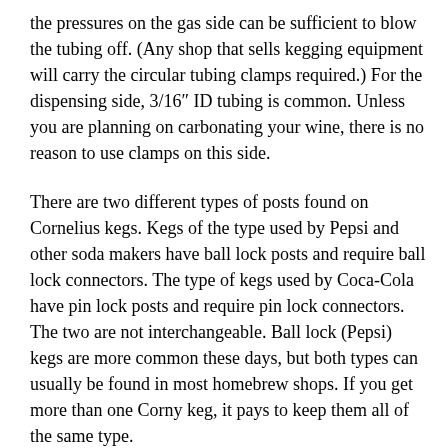the pressures on the gas side can be sufficient to blow the tubing off. (Any shop that sells kegging equipment will carry the circular tubing clamps required.) For the dispensing side, 3/16″ ID tubing is common. Unless you are planning on carbonating your wine, there is no reason to use clamps on this side.
There are two different types of posts found on Cornelius kegs. Kegs of the type used by Pepsi and other soda makers have ball lock posts and require ball lock connectors. The type of kegs used by Coca-Cola have pin lock posts and require pin lock connectors. The two are not interchangeable. Ball lock (Pepsi) kegs are more common these days, but both types can usually be found in most homebrew shops. If you get more than one Corny keg, it pays to keep them all of the same type.
The most common size of Cornelius keg is 5 gallons (19 L), although other sizes — including 2.5 gallon (9.5 L), 3 gallon (11.4 L), 10 gallon (38 L) and 15 gallon (58 L) — exist. The odd sizes are harder to find and usually cost $20 or more than a standard